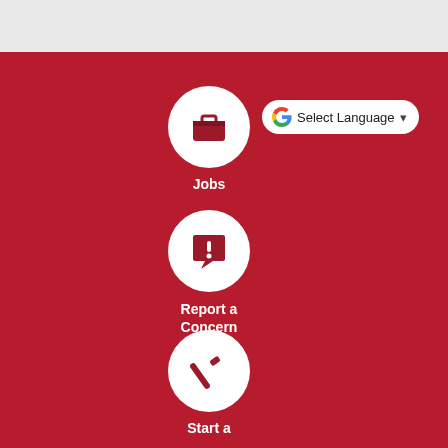[Figure (screenshot): Gray header bar at top of page]
[Figure (infographic): Red background with three white circular icon buttons: Jobs (briefcase icon), Report a Concern (speech bubble with exclamation), and Start a (hammer icon). Also includes a Google Translate 'Select Language' dropdown widget.]
Jobs
Report a Concern
Start a